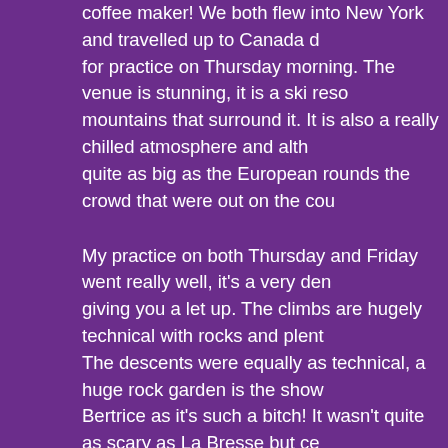coffee maker! We both flew into New York and travelled up to Canada d… for practice on Thursday morning. The venue is stunning, it is a ski reso… mountains that surround it. It is also a really chilled atmosphere and alth… quite as big as the European rounds the crowd that were out on the cou…
My practice on both Thursday and Friday went really well, it's a very den… giving you a let up. The climbs are hugely technical with rocks and plent… The descents were equally as technical, a huge rock garden is the show… Bertrice as it's such a bitch! It wasn't quite as scary as La Bresse but ce… physically as well as mentally. By Friday evening I was getting excited fo… couldn't wait to get out there.
Race day dawned and was a little damp. In some ways I thought that wo… little easier, dampen down the dust a little. We're camped about 5km aw… had the perfect warm up, zooming through some great trails to get there… MTB Team) is out here too and his wonderful girlfriend Becs helped us o… were all sorted and were called to the start line just as it began to rain, p… reasonably good start and managed to pass a few riders on the start cli… climb and the inevitable running happened. The rain had made things ra… case of doing the best I could in difficult conditions, I had to run a few se… line wrong or my wheel hit a slippery root wrong. By the first complete la… rhythm and was tucked in behind Katherine O'Shea of Torq Australia. Un… struck as I descended Bertrice, my front tyre burped sending me down in… dusted myself down and put my tyre back up and carried on, much to th… Even in such rubbish circumstances that made me smile a lot. I dug dee…